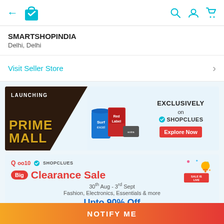SMARTSHOPINDIA - Delhi, Delhi - ShopClues app navigation
SMARTSHOPINDIA
Delhi, Delhi
Visit Seller Store
[Figure (infographic): LAUNCHING PRIME MALL advertisement banner - Exclusively on ShopClues with Explore Now button. Shows product images including Surf Excel and Red Label.]
[Figure (infographic): Qoo10 x ShopClues Big Clearance Sale banner. 30th Aug - 3rd Sept. Fashion, Electronics, Essentials & more. Upto 90% Off. SALE IS LIVE badge.]
NOTIFY ME